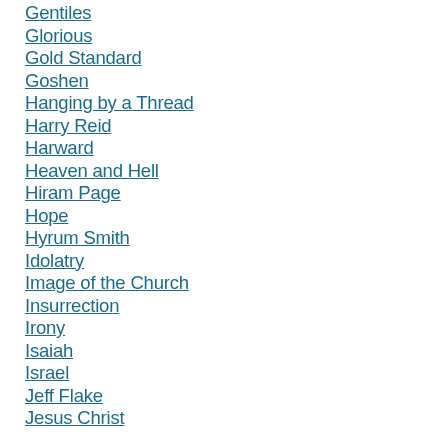Gentiles
Glorious
Gold Standard
Goshen
Hanging by a Thread
Harry Reid
Harward
Heaven and Hell
Hiram Page
Hope
Hyrum Smith
Idolatry
Image of the Church
Insurrection
Irony
Isaiah
Israel
Jeff Flake
Jesus Christ